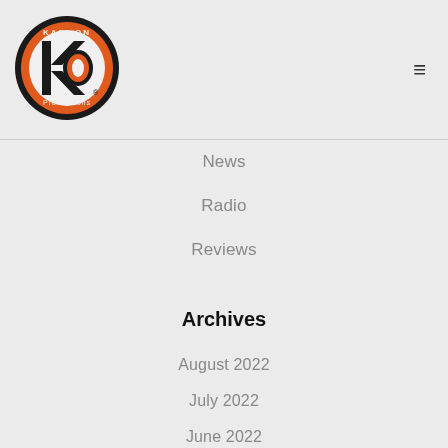Kari-On Productions logo and navigation header
News
Radio
Reviews
Archives
August 2022
July 2022
June 2022
May 2022
April 2022
March 2022
February 2022